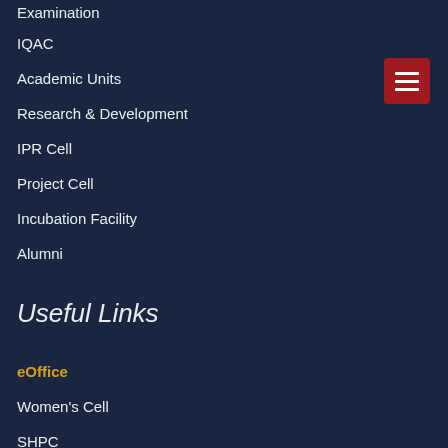Examination
IQAC
Academic Units
Research & Development
IPR Cell
Project Cell
Incubation Facility
Alumni
Useful Links
eOffice
Women's Cell
SHPC
Gender Equity